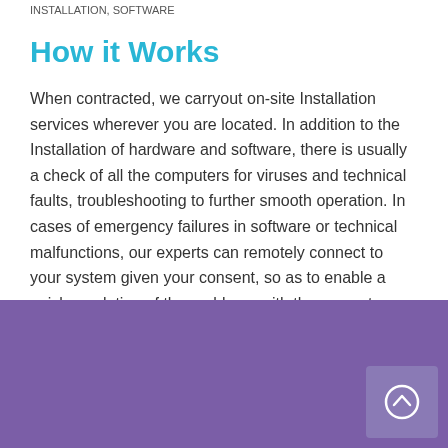INSTALLATION, SOFTWARE
How it Works
When contracted, we carryout on-site Installation services wherever you are located. In addition to the Installation of hardware and software, there is usually a check of all the computers for viruses and technical faults, troubleshooting to further smooth operation. In cases of emergency failures in software or technical malfunctions, our experts can remotely connect to your system given your consent, so as to enable a quick resolution of the problems with the computer.